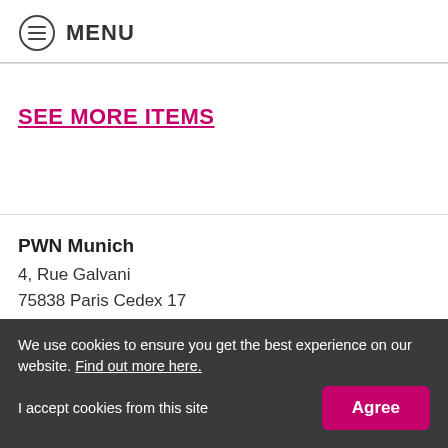MENU
SEE MORE ITEMS
PWN Munich
4, Rue Galvani
75838 Paris Cedex 17
Join our free community and receive our newsletters, filled with opportunities.
Here
We use cookies to ensure you get the best experience on our website. Find out more here.
I accept cookies from this site
Agree